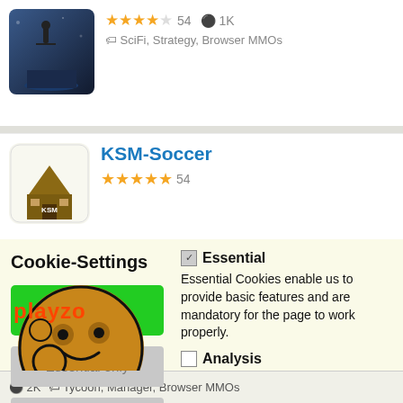[Figure (screenshot): Game listing thumbnail - dark sci-fi themed image]
★★★★✩ 54  ⚇1K
🏷 SciFi, Strategy, Browser MMOs
[Figure (screenshot): KSM-Soccer game thumbnail with mascot logo]
KSM-Soccer
★★★★★ 54
Cookie-Settings
Accept all
Essential only
save and close
[Figure (illustration): Playzo cartoon cookie character mascot with playzo logo]
Essential
Essential Cookies enable us to provide basic features and are mandatory for the page to work properly.
Analysis
Analysis-Cookies enable us to track how the website is being used. We use it to improve the website and our services.
Marketing (Funding of Website)
Marketing-Cookies are being used by thir parties or publishers to provide you with personalized advertisements. This is being performed by tracking visitors across websites.
⚇ 2K  🏷 Tycoon, Manager, Browser MMOs